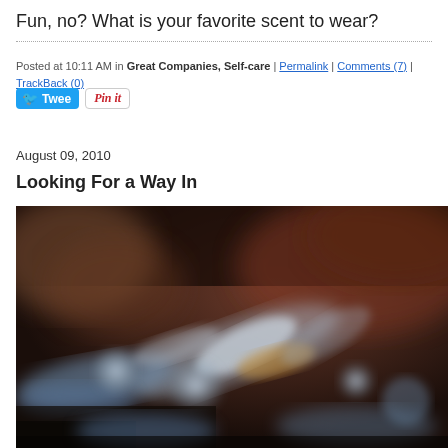Fun, no? What is your favorite scent to wear?
Posted at 10:11 AM in Great Companies, Self-care | Permalink | Comments (7) | TrackBack (0)
[Figure (other): Tweet button and Pin it button social sharing widgets]
August 09, 2010
Looking For a Way In
[Figure (photo): Blurry close-up photograph of what appears to be metallic or glass objects with dark brown background, bokeh effect, blue and brown tones]